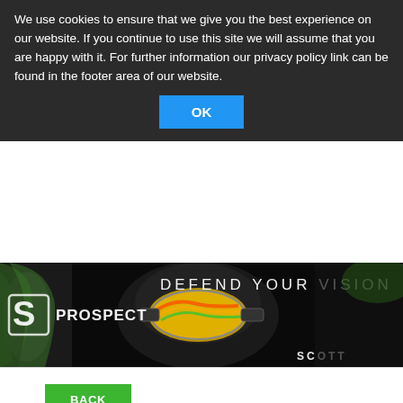We use cookies to ensure that we give you the best experience on our website. If you continue to use this site we will assume that you are happy with it. For further information our privacy policy link can be found in the footer area of our website.
OK
[Figure (illustration): Scott Prospect goggles advertisement banner — dark background with motocross rider wearing colorful goggles, text reads: PROSPECT DEFEND YOUR VISION SCOTT]
BACK
MRA
ULSTER QUAD AND